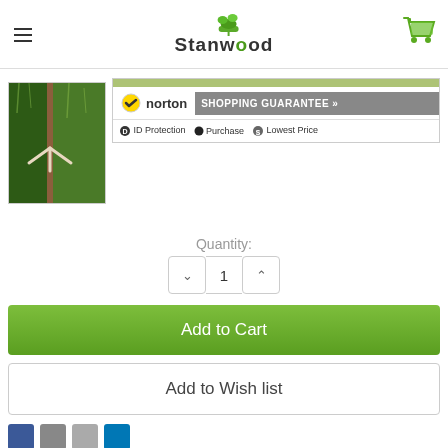[Figure (logo): Stanwood logo with green plant/leaf icon and shopping cart icon]
[Figure (photo): Product photo showing plant/grass stake with white three-pronged stake]
[Figure (other): Norton Shopping Guarantee badge with ID Protection, Purchase, and Lowest Price icons]
Quantity:
1
Add to Cart
Add to Wish list